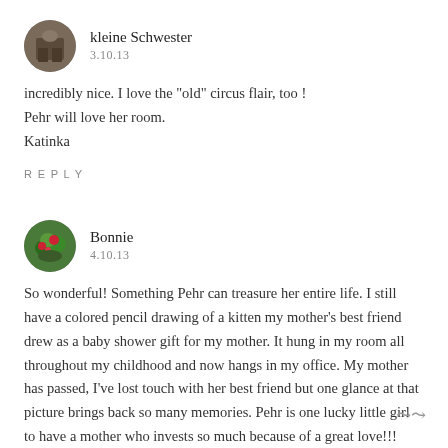[Figure (photo): Circular avatar of user 'kleine Schwester' showing a person in dark clothing]
kleine Schwester
3.10.13
incredibly nice. I love the "old" circus flair, too !
Pehr will love her room.
Katinka
REPLY
[Figure (photo): Circular avatar of user 'Bonnie' showing colorful flowers]
Bonnie
4.10.13
So wonderful! Something Pehr can treasure her entire life. I still have a colored pencil drawing of a kitten my mother's best friend drew as a baby shower gift for my mother. It hung in my room all throughout my childhood and now hangs in my office. My mother has passed, I've lost touch with her best friend but one glance at that picture brings back so many memories. Pehr is one lucky little girl to have a mother who invests so much because of a great love!!!